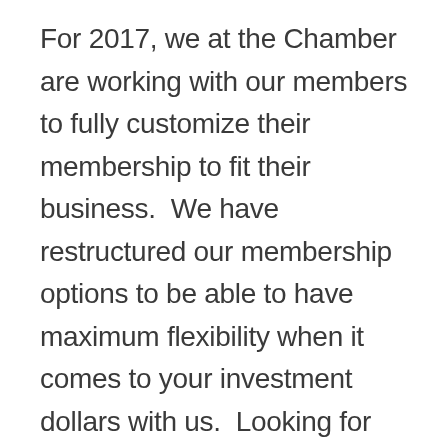For 2017, we at the Chamber are working with our members to fully customize their membership to fit their business.  We have restructured our membership options to be able to have maximum flexibility when it comes to your investment dollars with us.  Looking for more involvement in the community?  We can help with that.  Looking for more advertising?  We can help with that too!  We have laid out many options when it comes to choosing where your investment fits with your business.  Whether you are a multi-million dollar organization or a small shop pursuing your passion, we want you to feel like you are getting exactly what you are looking for with your Chamber Membership.